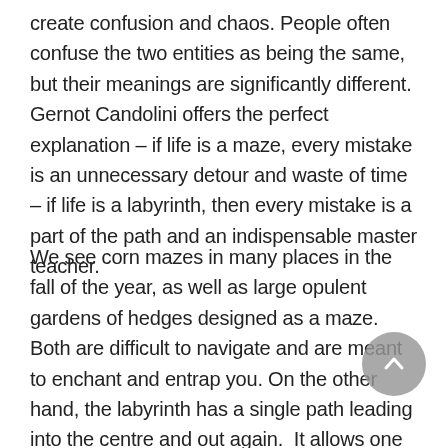create confusion and chaos. People often confuse the two entities as being the same, but their meanings are significantly different.  Gernot Candolini offers the perfect explanation – if life is a maze, every mistake is an unnecessary detour and waste of time – if life is a labyrinth, then every mistake is a part of the path and an indispensable master teacher.

We see corn mazes in many places in the fall of the year, as well as large opulent gardens of hedges designed as a maze. Both are difficult to navigate and are meant to enchant and entrap you. On the other hand, the labyrinth has a single path leading into the centre and out again.  It allows one to shed past issues on the way in, then provides a centre to pause and